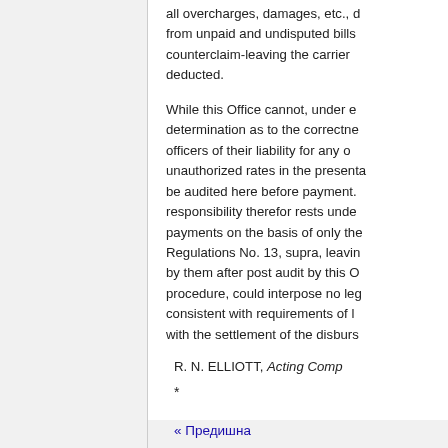all overcharges, damages, etc., de from unpaid and undisputed bills counterclaim-leaving the carrier deducted.
While this Office cannot, under e determination as to the correctne officers of their liability for any o unauthorized rates in the presenta be audited here before payment. responsibility therefor rests unde payments on the basis of only the Regulations No. 13, supra, leavin by them after post audit by this C procedure, could interpose no leg consistent with requirements of l with the settlement of the disburs
R. N. ELLIOTT, Acting Comp
*
« Предишна